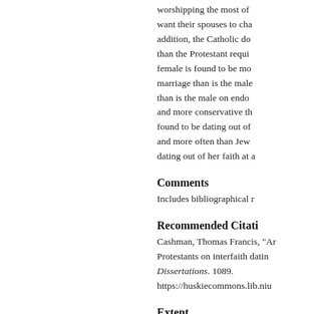worshipping the most of... want their spouses to cha... addition, the Catholic do... than the Protestant requi... female is found to be mo... marriage than is the male... than is the male on endo... and more conservative th... found to be dating out of... and more often than Jew... dating out of her faith at a...
Comments
Includes bibliographical r...
Recommended Citati...
Cashman, Thomas Francis, "Ar... Protestants on interfaith datin... Dissertations. 1089. https://huskiecommons.lib.niu...
Extent
viii, 71 pages
Language